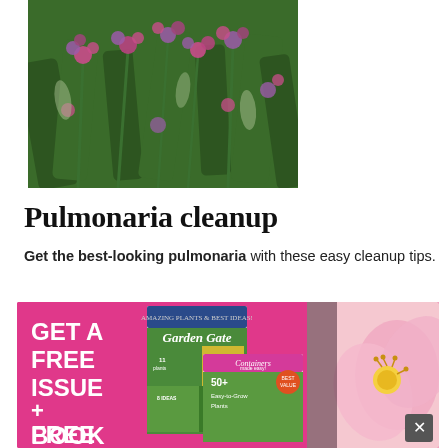[Figure (photo): Close-up photograph of pulmonaria flowers with pink and purple blooms and green foliage]
Pulmonaria cleanup
Get the best-looking pulmonaria with these easy cleanup tips.
[Figure (illustration): Pink advertisement banner reading 'GET A FREE ISSUE + FREE BOOK' with Garden Gate and Containers made easy magazine covers, and a pink flower photo on the right, with a close (x) button]